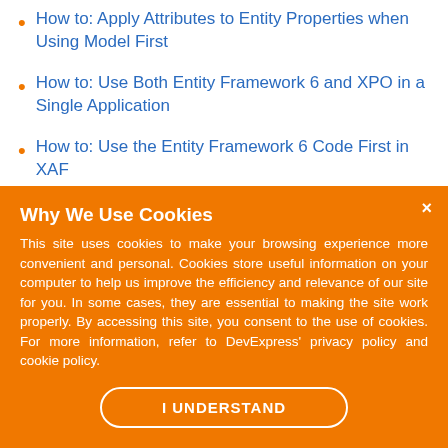How to: Apply Attributes to Entity Properties when Using Model First
How to: Use Both Entity Framework 6 and XPO in a Single Application
How to: Use the Entity Framework 6 Code First in XAF
How to: Use the Entity Framework 6 Data Model Located in an External Assembly
Why We Use Cookies
This site uses cookies to make your browsing experience more convenient and personal. Cookies store useful information on your computer to help us improve the efficiency and relevance of our site for you. In some cases, they are essential to making the site work properly. By accessing this site, you consent to the use of cookies. For more information, refer to DevExpress' privacy policy and cookie policy.
I UNDERSTAND